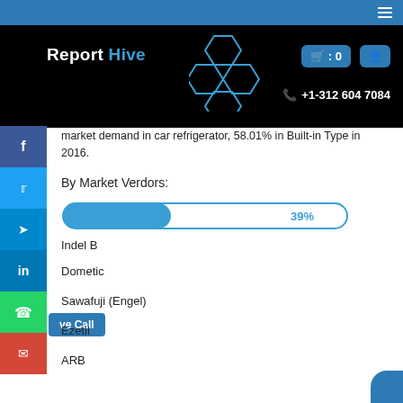[Figure (logo): Report Hive logo with honeycomb SVG graphic on black header bar]
market demand in car refrigerator, 58.01% in Built-in Type in 2016.
By Market Verdors:
[Figure (bar-chart): By Market Verdors]
Indel B
Dometic
Sawafuji (Engel)
Ezetil
ARB